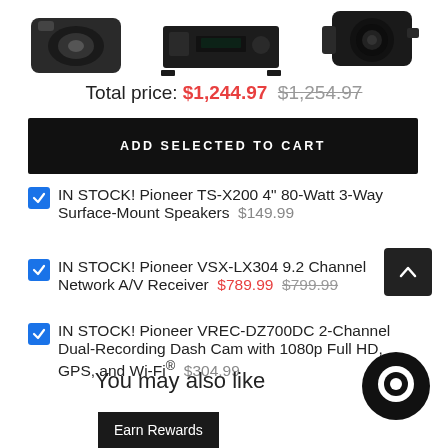[Figure (photo): Three product images: Pioneer TS-X200 speakers (left), Pioneer VSX-LX304 AV receiver (center), Pioneer VREC-DZ700DC dash cam (right)]
Total price: $1,244.97  $1,254.97
ADD SELECTED TO CART
IN STOCK! Pioneer TS-X200 4" 80-Watt 3-Way Surface-Mount Speakers  $149.99
IN STOCK! Pioneer VSX-LX304 9.2 Channel Network A/V Receiver  $789.99  $799.99
IN STOCK! Pioneer VREC-DZ700DC 2-Channel Dual-Recording Dash Cam with 1080p Full HD, GPS, and Wi-Fi®  $304.99
You may also like
Earn Rewards